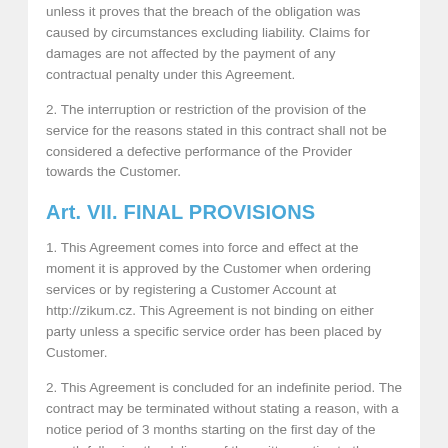unless it proves that the breach of the obligation was caused by circumstances excluding liability. Claims for damages are not affected by the payment of any contractual penalty under this Agreement.
2. The interruption or restriction of the provision of the service for the reasons stated in this contract shall not be considered a defective performance of the Provider towards the Customer.
Art. VII. FINAL PROVISIONS
1. This Agreement comes into force and effect at the moment it is approved by the Customer when ordering services or by registering a Customer Account at http://zikum.cz. This Agreement is not binding on either party unless a specific service order has been placed by Customer.
2. This Agreement is concluded for an indefinite period. The contract may be terminated without stating a reason, with a notice period of 3 months starting on the first day of the month following the delivery of the written notice to the other contracting party.
3. This Agreement may only be amended or supplemented in